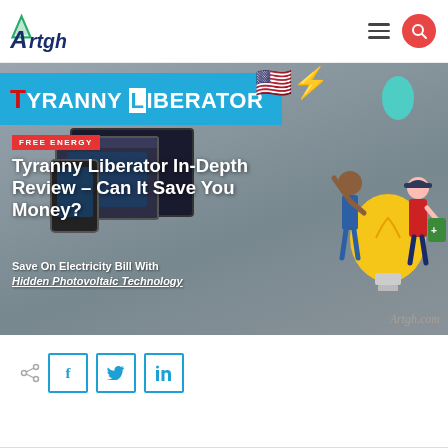Artgh — website header with logo, hamburger menu, and search button
[Figure (screenshot): Hero banner showing Tyranny Liberator product page with blue banner logo, FREE ENERGY badge, article title 'Tyranny Liberator In-Depth Review – Can It Save You Money?', subtitle 'Save On Electricity Bill With Hidden Photovoltaic Technology', product device screenshots, and illustrated figures of people with energy symbols. Artgh.com watermark bottom right.]
Tyranny Liberator In-Depth Review – Can It Save You Money?
Save On Electricity Bill With Hidden Photovoltaic Technology
Share buttons: share icon, Facebook, Twitter, LinkedIn